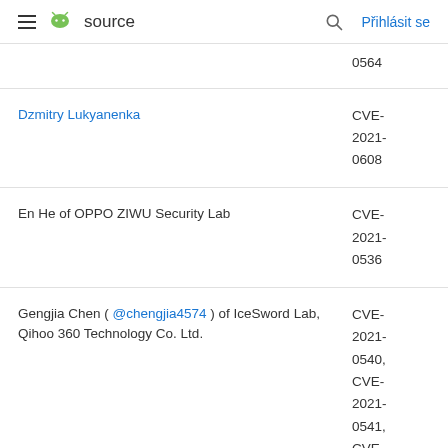source  Přihlásit se
| Researcher | CVE |
| --- | --- |
| (partial) 0564 |  |
| Dzmitry Lukyanenka | CVE-2021-0608 |
| En He of OPPO ZIWU Security Lab | CVE-2021-0536 |
| Gengjia Chen ( @chengjia4574 ) of IceSword Lab, Qihoo 360 Technology Co. Ltd. | CVE-2021-0540, CVE-2021-0541, CVE-2021-0543 |